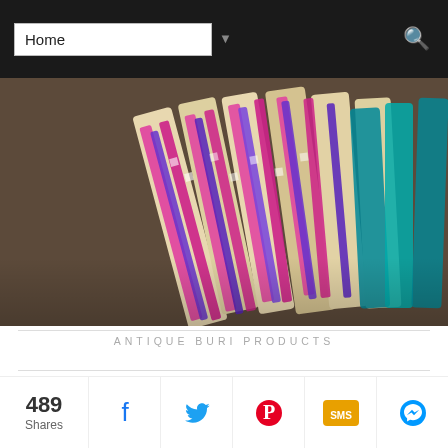Home
[Figure (photo): Colorful woven buri products hanging on a rack, featuring pink, purple, teal, and cream checkered patterns.]
ANTIQUE BURI PRODUCTS
The lady weavers were kind enough to show us the intricacies of weaving buri. Both students and travelers converged around a weaver as she purposely slowed her pace and taught us how to transform simple buri leaves into works
489 Shares | Facebook | Twitter | Pinterest | SMS | Messenger